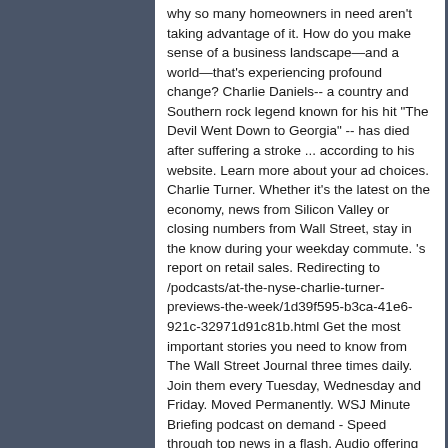why so many homeowners in need aren't taking advantage of it. How do you make sense of a business landscape—and a world—that's experiencing profound change? Charlie Daniels-- a country and Southern rock legend known for his hit "The Devil Went Down to Georgia" -- has died after suffering a stroke ... according to his website. Learn more about your ad choices. Charlie Turner. Whether it's the latest on the economy, news from Silicon Valley or closing numbers from Wall Street, stay in the know during your weekday commute. 's report on retail sales. Redirecting to /podcasts/at-the-nyse-charlie-turner-previews-the-week/1d39f595-b3ca-41e6-921c-32971d91c81b.html Get the most important stories you need to know from The Wall Street Journal three times daily. Join them every Tuesday, Wednesday and Friday. Moved Permanently. WSJ Minute Briefing podcast on demand - Speed through top news in a flash. Audio offering from the Wall Street Journal. May 7, 2017 May 7, 2017 Stephen Hicks 0 Comments Charlie Turner. Charlie was awarded her Queen's Guide Award at the 22nd World Scout Jamboree, by the UK Contingent